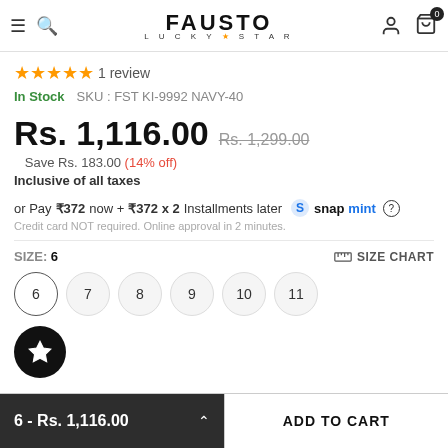FAUSTO LUCKY STAR
★★★★★ 1 review
In Stock   SKU : FST KI-9992 NAVY-40
Rs. 1,116.00  Rs. 1,299.00
Save Rs. 183.00 (14% off)
Inclusive of all taxes
or Pay ₹372 now + ₹372 x 2 Installments later snapmint ?
Credit card NOT required. Online approval in 2 minutes.
SIZE: 6   SIZE CHART
Size options: 6 7 8 9 10 11
6 - Rs. 1,116.00   ADD TO CART